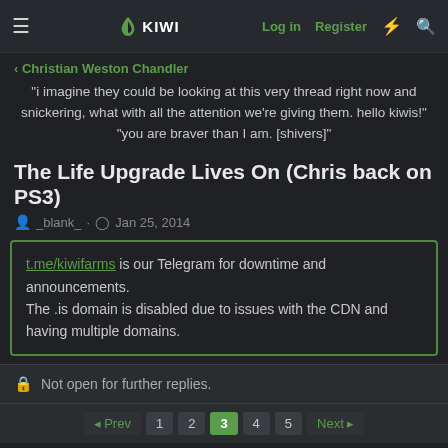≡ KIWI  Log in  Register
< Christian Weston Chandler
"i imagine they could be looking at this very thread right now and snickering, what with all the attention we're giving them. hello kiwis!" "you are braver than I am. [shivers]"
The Life Upgrade Lives On (Chris back on PS3)
_blank_ · Jan 25, 2014
t.me/kiwifarms is our Telegram for downtime and announcements.
The .is domain is disabled due to issues with the CDN and having multiple domains.
Not open for further replies.
◄ Prev  1  2  3  4  5  Next ►